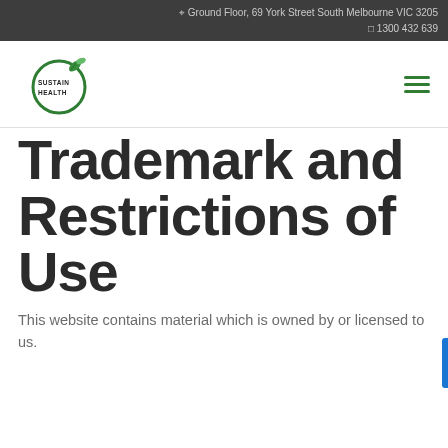Ground Floor, 69 York Street South Melbourne VIC 3205
1300 432 639
[Figure (logo): Sustain Health logo — green circular leaf icon with 'SUSTAIN HEALTH' text]
Trademark and Restrictions of Use
This website contains material which is owned by or licensed to us.